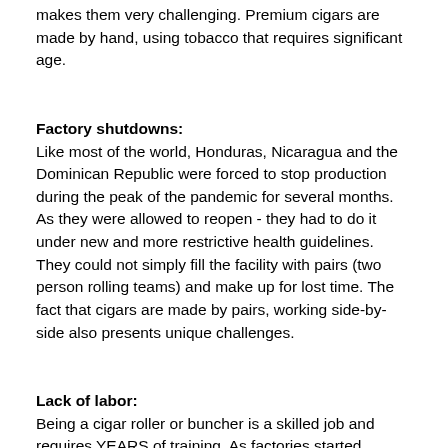makes them very challenging. Premium cigars are made by hand, using tobacco that requires significant age.
Factory shutdowns:
Like most of the world, Honduras, Nicaragua and the Dominican Republic were forced to stop production during the peak of the pandemic for several months. As they were allowed to reopen - they had to do it under new and more restrictive health guidelines. They could not simply fill the facility with pairs (two person rolling teams) and make up for lost time. The fact that cigars are made by pairs, working side-by-side also presents unique challenges.
Lack of labor:
Being a cigar roller or buncher is a skilled job and requires YEARS of training. As factories started opening back up and the demand to deliver more cigars increased, new pairs had to be hired and trained. Most factories employed the right number of pairs necessary to meet their projection of sales, but they cannot rapidly hire new teams and put them to work.